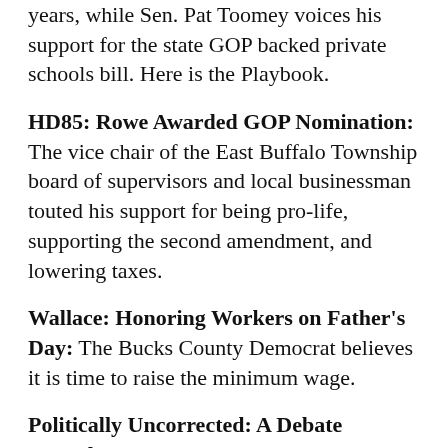years, while Sen. Pat Toomey voices his support for the state GOP backed private schools bill. Here is the Playbook.
HD85: Rowe Awarded GOP Nomination: The vice chair of the East Buffalo Township board of supervisors and local businessman touted his support for being pro-life, supporting the second amendment, and lowering taxes.
Wallace: Honoring Workers on Father's Day: The Bucks County Democrat believes it is time to raise the minimum wage.
Politically Uncorrected: A Debate Marathon: Who will win the 2020 presidential election seems endlessly debatable.